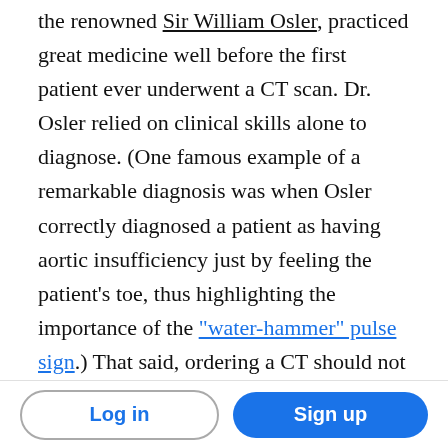the renowned Sir William Osler, practiced great medicine well before the first patient ever underwent a CT scan. Dr. Osler relied on clinical skills alone to diagnose. (One famous example of a remarkable diagnosis was when Osler correctly diagnosed a patient as having aortic insufficiency just by feeling the patient's toe, thus highlighting the importance of the "water-hammer" pulse sign.) That said, ordering a CT should not be a knee-jerk reaction for every presenting symptom. Alas, in Cover Your Ass medicine, the fear of litigation attached to missing something weighs heavily on every practicing
Log in | Sign up